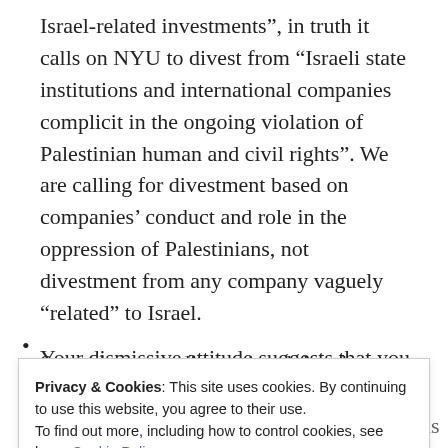Israel-related investments”, in truth it calls on NYU to divest from “Israeli state institutions and international companies complicit in the ongoing violation of Palestinian human and civil rights”. We are calling for divestment based on companies’ conduct and role in the oppression of Palestinians, not divestment from any company vaguely “related” to Israel.
Second, we are disappointed that the memo does not acknowledge that this was a democratic referendum passed with strong support by 66% of voting GSOC members.
Your dismissive attitude suggests that you have
Privacy & Cookies: This site uses cookies. By continuing to use this website, you agree to their use.
To find out more, including how to control cookies, see here: Cookie Policy
their responsibilities as employees of NYU is